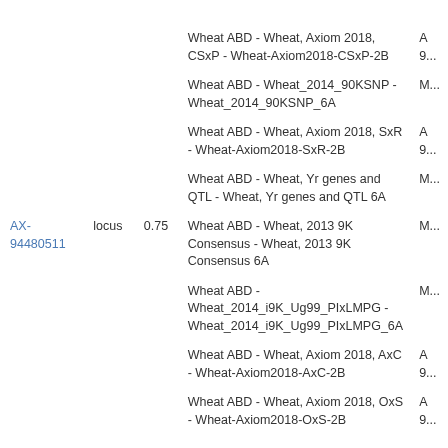| ID | Type | Value | Map Name | Extra |
| --- | --- | --- | --- | --- |
|  |  |  | Wheat ABD - Wheat, Axiom 2018, CSxP - Wheat-Axiom2018-CSxP-2B | A...9... |
|  |  |  | Wheat ABD - Wheat_2014_90KSNP - Wheat_2014_90KSNP_6A | M... |
|  |  |  | Wheat ABD - Wheat, Axiom 2018, SxR - Wheat-Axiom2018-SxR-2B | A...9... |
|  |  |  | Wheat ABD - Wheat, Yr genes and QTL - Wheat, Yr genes and QTL 6A | M... |
| AX-94480511 | locus | 0.75 | Wheat ABD - Wheat, 2013 9K Consensus - Wheat, 2013 9K Consensus 6A | M... |
|  |  |  | Wheat ABD - Wheat_2014_i9K_Ug99_PIxLMPG - Wheat_2014_i9K_Ug99_PIxLMPG_6A | M... |
|  |  |  | Wheat ABD - Wheat, Axiom 2018, AxC - Wheat-Axiom2018-AxC-2B | A...9... |
|  |  |  | Wheat ABD - Wheat, Axiom 2018, OxS - Wheat-Axiom2018-OxS-2B | A...9... |